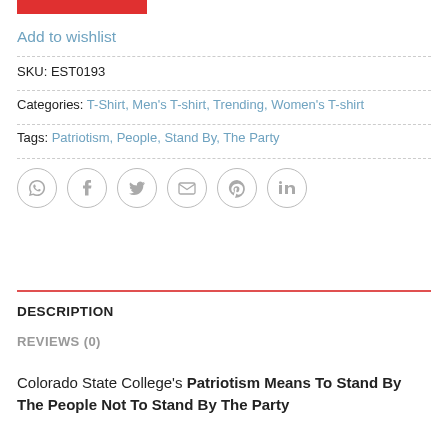[Figure (other): Red horizontal bar at top left]
Add to wishlist
SKU: EST0193
Categories: T-Shirt, Men's T-shirt, Trending, Women's T-shirt
Tags: Patriotism, People, Stand By, The Party
[Figure (other): Social share icons: WhatsApp, Facebook, Twitter, Email, Pinterest, LinkedIn]
DESCRIPTION
REVIEWS (0)
Colorado State College's Patriotism Means To Stand By The People Not To Stand By The Party